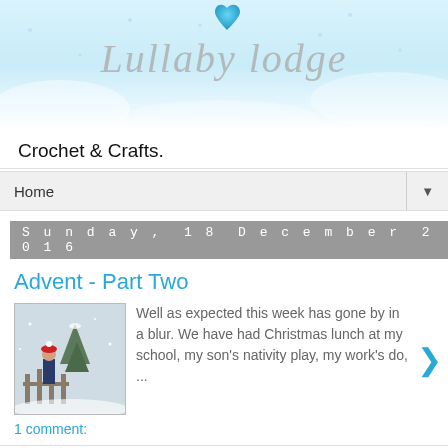[Figure (illustration): Lullaby Lodge blog header banner with blue heart icon and cursive script logo text on light blue winter background]
Crochet & Crafts.
Home
Sunday, 18 December 2016
Advent - Part Two
Well as expected this week has gone by in a blur.  We have had Christmas lunch at my school, my son's nativity play, my work's do, ...
1 comment:
Saturday, 17 December 2016
Free Pattern - Pocket Tissue Cosy